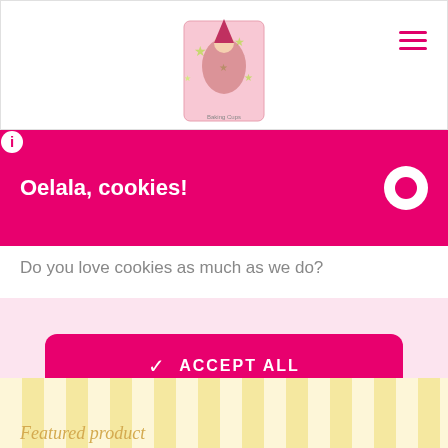[Figure (screenshot): Top white navigation bar with a Christmas baking product image (Santa-themed baking cups) centered, and a pink hamburger menu icon in the top right corner.]
Oelala, cookies!
Do you love cookies as much as we do?
ACCEPT ALL
SET PREFERENCES
Featured product